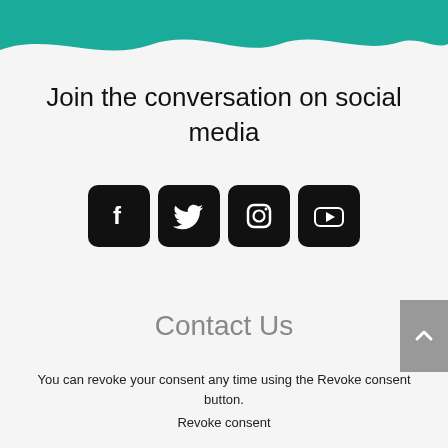[Figure (illustration): Teal/green wavy decorative banner across the top of the page]
Join the conversation on social media
[Figure (infographic): Four black rounded square social media icons: Facebook, Twitter, Instagram, YouTube]
Contact Us
You can revoke your consent any time using the Revoke consent button.
Revoke consent